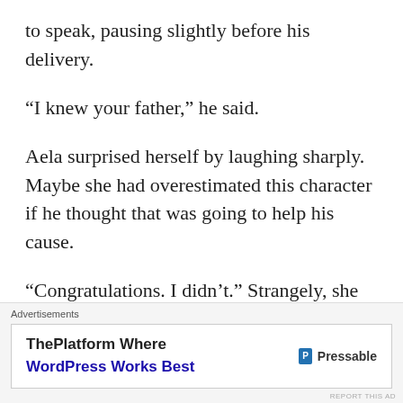to speak, pausing slightly before his delivery.
“I knew your father,” he said.
Aela surprised herself by laughing sharply. Maybe she had overestimated this character if he thought that was going to help his cause.
“Congratulations. I didn’t.” Strangely, she thought she caught sight of a well-repressed smirk on the king’s lips as she took a sip of tea.
“Aela Crane, I have a proposition for you.” He paused
Advertisements
[Figure (other): Advertisement banner: ThePlatform Where WordPress Works Best — Pressable]